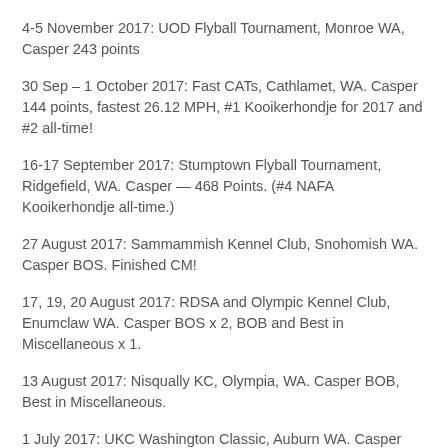4-5 November 2017: UOD Flyball Tournament, Monroe WA, Casper 243 points
30 Sep – 1 October 2017: Fast CATs, Cathlamet, WA. Casper 144 points, fastest 26.12 MPH, #1 Kooikerhondje for 2017 and #2 all-time!
16-17 September 2017: Stumptown Flyball Tournament, Ridgefield, WA. Casper — 468 Points. (#4 NAFA Kooikerhondje all-time.)
27 August 2017: Sammammish Kennel Club, Snohomish WA. Casper BOS. Finished CM!
17, 19, 20 August 2017: RDSA and Olympic Kennel Club, Enumclaw WA. Casper BOS x 2, BOB and Best in Miscellaneous x 1.
13 August 2017: Nisqually KC, Olympia, WA. Casper BOB, Best in Miscellaneous.
1 July 2017: UKC Washington Classic, Auburn WA. Casper Group 1 Show 1, Group 2 Show 2, Reserve BIS Show 1. Q in Rally, finished URO1 title, awarded Total